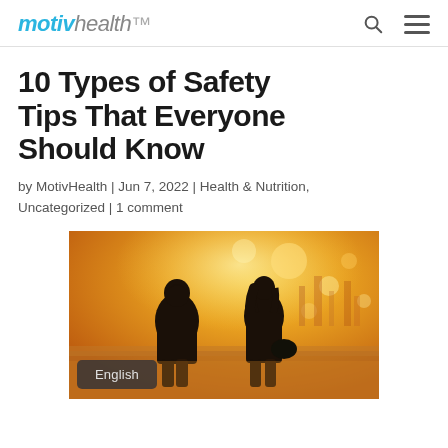motivhealth
10 Types of Safety Tips That Everyone Should Know
by MotivHealth | Jun 7, 2022 | Health & Nutrition, Uncategorized | 1 comment
[Figure (photo): Two silhouetted figures (a person in a hoodie and a woman with long hair carrying a bag) walking in a bright golden-lit urban street scene.]